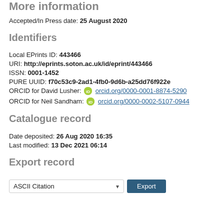More information
Accepted/In Press date: 25 August 2020
Identifiers
Local EPrints ID: 443466
URI: http://eprints.soton.ac.uk/id/eprint/443466
ISSN: 0001-1452
PURE UUID: f70c53c9-2ad1-4fb0-9d6b-a25dd76f922e
ORCID for David Lusher: orcid.org/0000-0001-8874-5290
ORCID for Neil Sandham: orcid.org/0000-0002-5107-0944
Catalogue record
Date deposited: 26 Aug 2020 16:35
Last modified: 13 Dec 2021 06:14
Export record
ASCII Citation [Export]